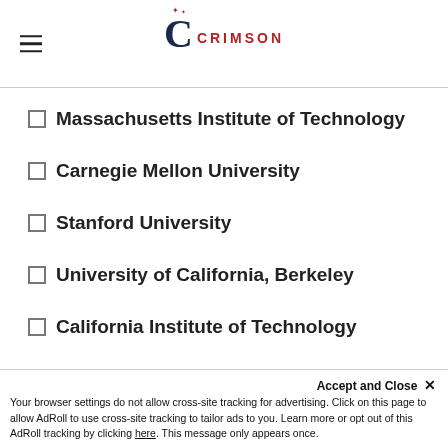CRIMSON
Massachusetts Institute of Technology
Carnegie Mellon University
Stanford University
University of California, Berkeley
California Institute of Technology
MY ADMISSIONS CHANCES
This website uses cookies to ensure you get the best experience on our website. Learn more
2. Nurse Practitioner
Accept and Close ✕
Your browser settings do not allow cross-site tracking for advertising. Click on this page to allow AdRoll to use cross-site tracking to tailor ads to you. Learn more or opt out of this AdRoll tracking by clicking here. This message only appears once.